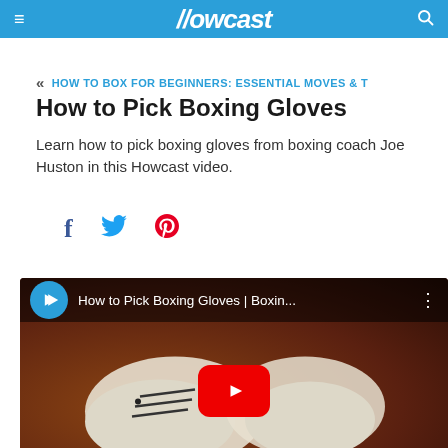Howcast
HOW TO BOX FOR BEGINNERS: ESSENTIAL MOVES & T
How to Pick Boxing Gloves
Learn how to pick boxing gloves from boxing coach Joe Huston in this Howcast video.
[Figure (screenshot): Social sharing icons: Facebook (f), Twitter (bird), Pinterest (P)]
[Figure (screenshot): YouTube video embed thumbnail showing boxing gloves with play button overlay. Video title: How to Pick Boxing Gloves | Boxin...]